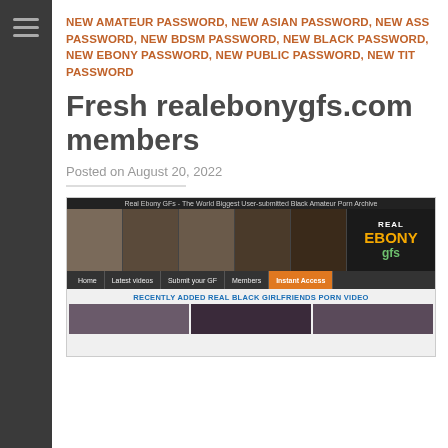NEW AMATEUR PASSWORD, NEW ASIAN PASSWORD, NEW ASS PASSWORD, NEW BDSM PASSWORD, NEW BLACK PASSWORD, NEW EBONY PASSWORD, NEW PUBLIC PASSWORD, NEW TIT PASSWORD
Fresh realebonygfs.com members
Posted on August 20, 2022
[Figure (screenshot): Screenshot of realebonygfs.com website showing header with amateur photos, navigation bar with Home, Latest videos, Submit your GF, Members, Instant Access, and recently added section with title RECENTLY ADDED REAL BLACK GIRLFRIENDS PORN VIDEO]